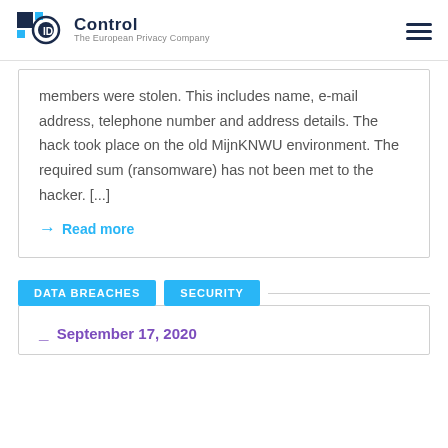ID Control – The European Privacy Company
members were stolen. This includes name, e-mail address, telephone number and address details. The hack took place on the old MijnKNWU environment. The required sum (ransomware) has not been met to the hacker. [...]
→ Read more
DATA BREACHES  SECURITY
_ September 17, 2020